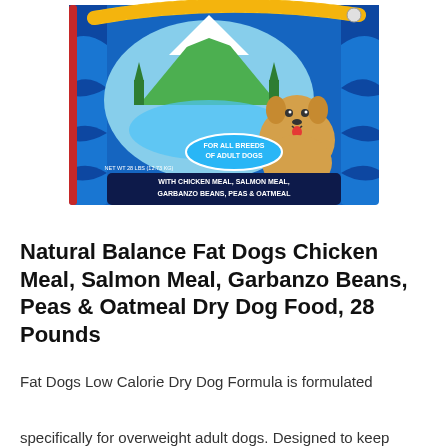[Figure (photo): Product box of Natural Balance Fat Dogs Chicken Meal, Salmon Meal, Garbanzo Beans, Peas & Oatmeal Dry Dog Food, 28 Pounds. The box is blue with a yellow measuring tape around the top, a scenic mountain lake image in the center, a cartoon golden dog on the right side, and text reading 'FOR ALL BREEDS OF ADULT DOGS' and 'WITH CHICKEN MEAL, SALMON MEAL, GARBANZO BEANS, PEAS & OATMEAL' on a dark blue banner at the bottom.]
Natural Balance Fat Dogs Chicken Meal, Salmon Meal, Garbanzo Beans, Peas & Oatmeal Dry Dog Food, 28 Pounds
Fat Dogs Low Calorie Dry Dog Formula is formulated specifically for overweight adult dogs. Designed to keep your pet nutritionally balanced with fewer calories, this